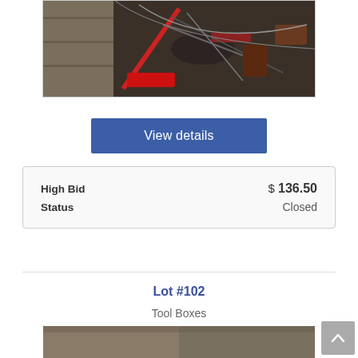[Figure (photo): A pile of miscellaneous old tools, cables, and metal parts in a storage area.]
View details
| High Bid | $ 136.50 |
| Status | Closed |
Lot #102
Tool Boxes
[Figure (photo): Partial view of tool boxes photo at the bottom of the page.]